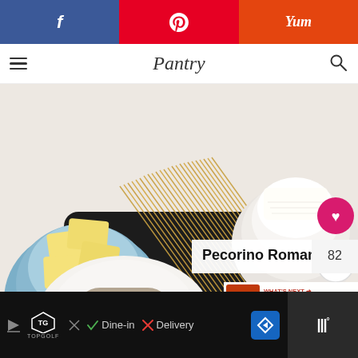[Figure (screenshot): Social sharing bar with Facebook (blue), Pinterest (red), and Yummly (orange-red) buttons at top of webpage]
Pantry
[Figure (photo): Overhead photo of pasta ingredients: butter pieces in blue bowl, uncooked spaghetti on dark cutting board, grated Pecorino Romano cheese in white bowl, and ground black pepper on white plate. Label overlay reads 'Pecorino Romano' with number 82. Heart and share buttons visible. 'What's Next - Easy Homemade...' overlay with thumbnail.]
[Figure (screenshot): Advertisement bar at bottom: Topgolf ad with Dine-in checkmark and Delivery X, navigation arrow icon, and W° logo]